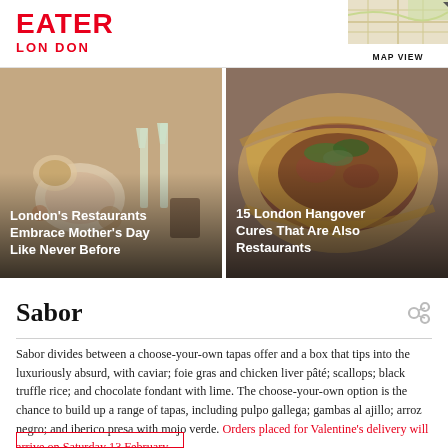EATER LONDON
[Figure (photo): Restaurant table with brunch dishes, champagne flutes, decorative items — London's Restaurants Embrace Mother's Day Like Never Before]
[Figure (photo): Close-up of a large flatbread wrap filled with meat and greens — 15 London Hangover Cures That Are Also Restaurants]
Sabor
Sabor divides between a choose-your-own tapas offer and a box that tips into the luxuriously absurd, with caviar; foie gras and chicken liver pâté; scallops; black truffle rice; and chocolate fondant with lime. The choose-your-own option is the chance to build up a range of tapas, including pulpo gallega; gambas al ajillo; arroz negro; and iberico presa with mojo verde. Orders placed for Valentine's delivery will arrive on Saturday 13 February.